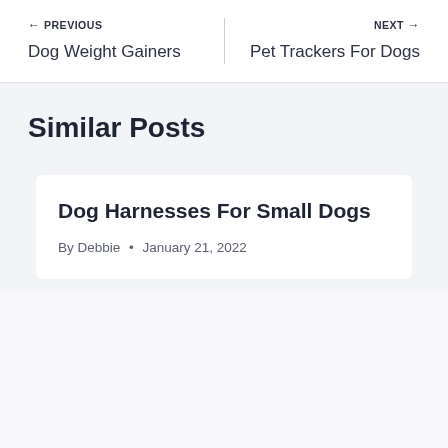← PREVIOUS
Dog Weight Gainers
NEXT →
Pet Trackers For Dogs
Similar Posts
Dog Harnesses For Small Dogs
By Debbie • January 21, 2022